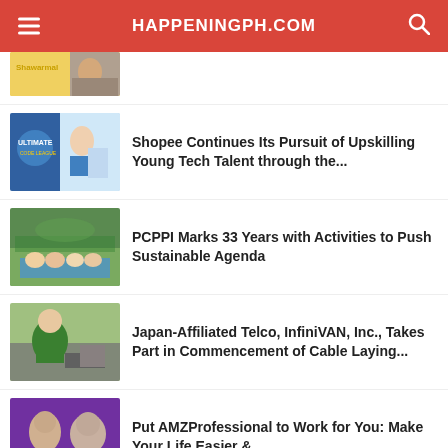HAPPENINGPH.COM
[Figure (photo): Partial thumbnail of a Shawarmal article at the top]
[Figure (photo): Shopee Ultimate Code event with students and laptop]
Shopee Continues Its Pursuit of Upskilling Young Tech Talent through the...
[Figure (photo): Group of people outdoors holding a banner for PCPPI]
PCPPI Marks 33 Years with Activities to Push Sustainable Agenda
[Figure (photo): Worker in green shirt and helmet working on cable laying]
Japan-Affiliated Telco, InfiniVAN, Inc., Takes Part in Commencement of Cable Laying...
[Figure (photo): Two men against purple background for AMZProfessional]
Put AMZProfessional to Work for You: Make Your Life Easier &...